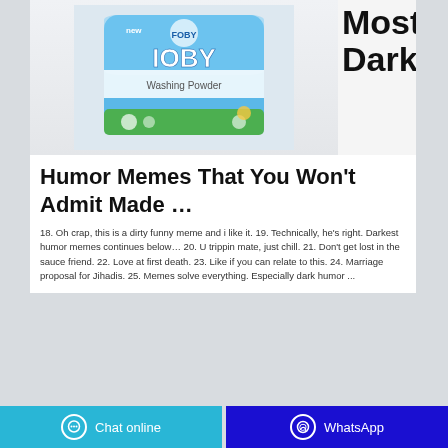[Figure (photo): A blue bag of FOBY Washing Powder product against a light background]
Most
Dark
Humor Memes That You Won't Admit Made …
18. Oh crap, this is a dirty funny meme and i like it. 19. Technically, he's right. Darkest humor memes continues below… 20. U trippin mate, just chill. 21. Don't get lost in the sauce friend. 22. Love at first death. 23. Like if you can relate to this. 24. Marriage proposal for Jihadis. 25. Memes solve everything. Especially dark humor ...
Chat online  WhatsApp